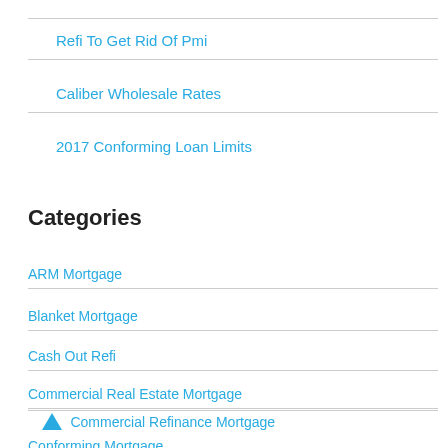Refi To Get Rid Of Pmi
Caliber Wholesale Rates
2017 Conforming Loan Limits
Categories
ARM Mortgage
Blanket Mortgage
Cash Out Refi
Commercial Real Estate Mortgage
Commercial Refinance Mortgage
Conforming Mortgage